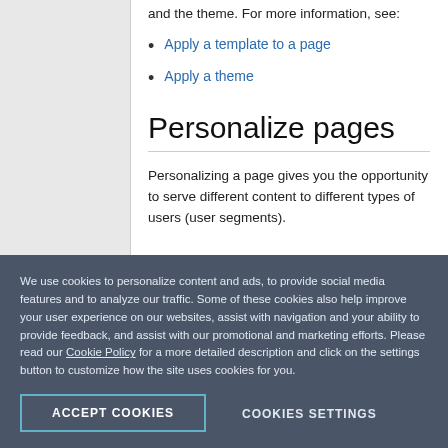and the theme. For more information, see:
Apply a template to a page
Apply a theme
Personalize pages
Personalizing a page gives you the opportunity to serve different content to different types of users (user segments).
We use cookies to personalize content and ads, to provide social media features and to analyze our traffic. Some of these cookies also help improve your user experience on our websites, assist with navigation and your ability to provide feedback, and assist with our promotional and marketing efforts. Please read our Cookie Policy for a more detailed description and click on the settings button to customize how the site uses cookies for you.